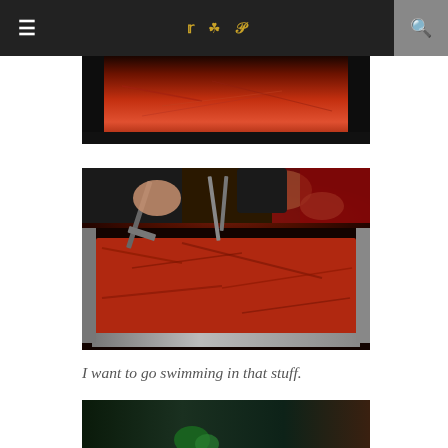≡  🐦  📷  𝗣  🔍
[Figure (photo): Top partial view of a baking pan filled with red meat dish, dark background]
[Figure (photo): Hands using metal tongs and spatulas to serve shredded red braised meat from a large baking pan]
I want to go swimming in that stuff.
[Figure (photo): Bottom partial view of a dark scene, partially visible green element at bottom]